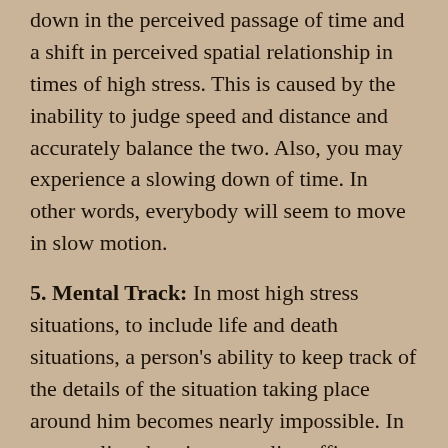down in the perceived passage of time and a shift in perceived spatial relationship in times of high stress. This is caused by the inability to judge speed and distance and accurately balance the two. Also, you may experience a slowing down of time. In other words, everybody will seem to move in slow motion.
5. Mental Track: In most high stress situations, to include life and death situations, a person's ability to keep track of the details of the situation taking place around him becomes nearly impossible. In most police shootings, a police officer being debriefed after an engagement does not usually remember how many rounds that he fired. This can happen even in training. Therefore, as a shooter, you must learn to beware of the number of rounds you fired so the weapon does not run completely dry in the middle of a firefight. This concept of